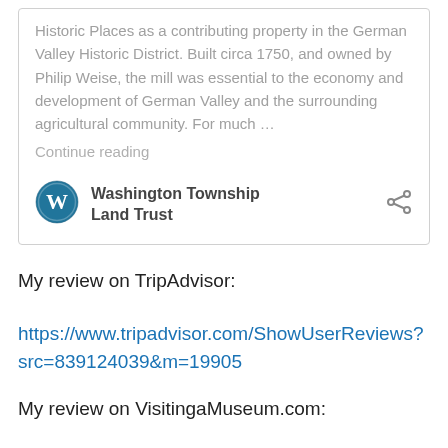Historic Places as a contributing property in the German Valley Historic District. Built circa 1750, and owned by Philip Weise, the mill was essential to the economy and development of German Valley and the surrounding agricultural community. For much …
Continue reading
[Figure (logo): WordPress logo — blue circle with white W]
Washington Township Land Trust
My review on TripAdvisor:
https://www.tripadvisor.com/ShowUserReviews?src=839124039&m=19905
My review on VisitingaMuseum.com: